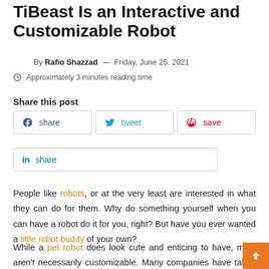TiBeast Is an Interactive and Customizable Robot
By Rafio Shazzad — Friday, June 25, 2021
Approximately 3 minutes reading time
Share this post
f share | tweet | save | in share
People like robots, or at the very least are interested in what they can do for them. Why do something yourself when you can have a robot do it for you, right? But have you ever wanted a little robot buddy of your own?
While a pet robot does look cute and enticing to have, most aren't necessarily customizable. Many companies have taken up